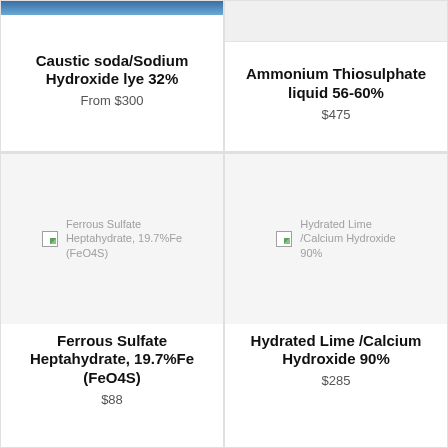[Figure (photo): Partial product image for Caustic soda/Sodium Hydroxide lye 32% (cropped at top)]
Caustic soda/Sodium Hydroxide lye 32%
From $300
[Figure (photo): Partial product image for Ammonium Thiosulphate liquid 56-60% (cropped at top)]
Ammonium Thiosulphate liquid 56-60%
$475
[Figure (photo): Broken image placeholder for Ferrous Sulfate Heptahydrate, 19.7%Fe (FeO4S)]
Ferrous Sulfate Heptahydrate, 19.7%Fe (FeO4S)
$88
[Figure (photo): Broken image placeholder for Hydrated Lime /Calcium Hydroxide 90%]
Hydrated Lime /Calcium Hydroxide 90%
$285